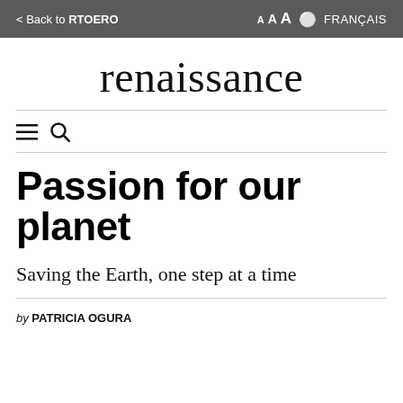< Back to RTOERO   A A A  FRANÇAIS
renaissance
[Figure (other): Hamburger menu icon and search icon navigation controls]
Passion for our planet
Saving the Earth, one step at a time
by PATRICIA OGURA